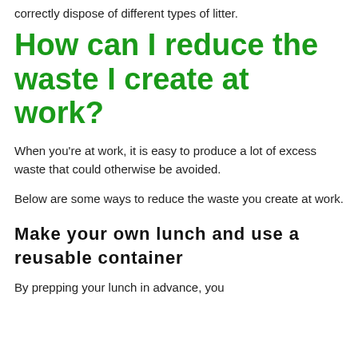correctly dispose of different types of litter.
How can I reduce the waste I create at work?
When you're at work, it is easy to produce a lot of excess waste that could otherwise be avoided.
Below are some ways to reduce the waste you create at work.
Make your own lunch and use a reusable container
By prepping your lunch in advance, you